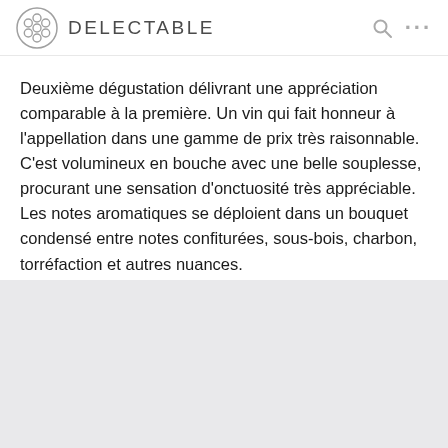DELECTABLE
Deuxième dégustation délivrant une appréciation comparable à la première. Un vin qui fait honneur à l'appellation dans une gamme de prix très raisonnable. C'est volumineux en bouche avec une belle souplesse, procurant une sensation d'onctuosité très appréciable. Les notes aromatiques se déploient dans un bouquet condensé entre notes confiturées, sous-bois, charbon, torréfaction et autres nuances.
— 9 days ago
Daniel, Tom and 10 others liked this